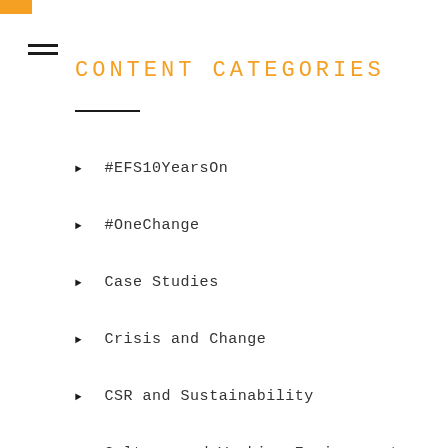CONTENT CATEGORIES
#EFS10YearsOn
#OneChange
Case Studies
Crisis and Change
CSR and Sustainability
Culture and Working Environment
Effective Communication
Employee Voice
Engaging Managers